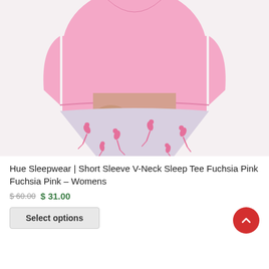[Figure (photo): Product photo showing a woman wearing a pink short sleeve V-neck sleep tee and light purple/grey pants with pink flamingo pattern. Only the torso and legs are visible.]
Hue Sleepwear | Short Sleeve V-Neck Sleep Tee Fuchsia Pink Fuchsia Pink – Womens
$ 60.00 $ 31.00
Select options